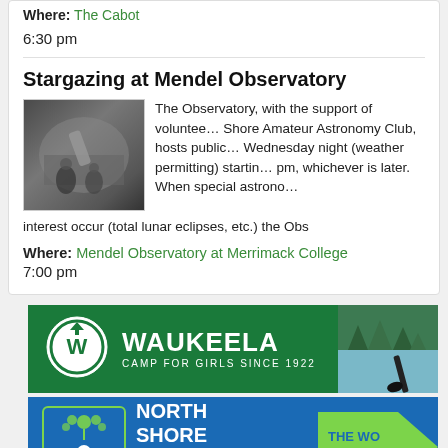Where: The Cabot
6:30 pm
Stargazing at Mendel Observatory
[Figure (photo): Photo of people at an observatory with a telescope dome]
The Observatory, with the support of volunteers from the North Shore Amateur Astronomy Club, hosts public stargazing every Wednesday night (weather permitting) starting at sunset or 8 pm, whichever is later. When special astronomical events of interest occur (total lunar eclipses, etc.) the Obs
Where: Mendel Observatory at Merrimack College
7:00 pm
[Figure (logo): Waukeela Camp for Girls Since 1922 advertisement banner with green background and photo of water/paddle]
[Figure (logo): North Shore Nursery School advertisement banner with blue background and green arrow. Text: THE WO... FOR M...]